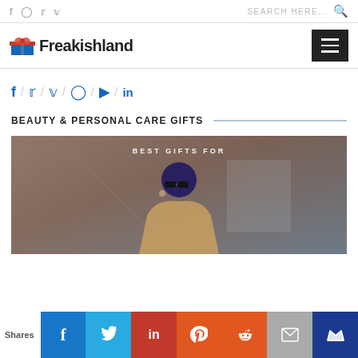f  instagram  twitter  pinterest  |  SEARCH HERE...  🔍
[Figure (logo): Freakishland logo with gift box icon and site name]
[Figure (infographic): Hamburger menu icon (three horizontal lines on black background)]
f / twitter / pinterest / instagram / youtube / in
BEAUTY & PERSONAL CARE GIFTS
[Figure (photo): Woman with blue hair and sunglasses, overlay text reading BEST GIFTS FOR]
Shares  f  twitter  in  pinterest  reddit  email  crown